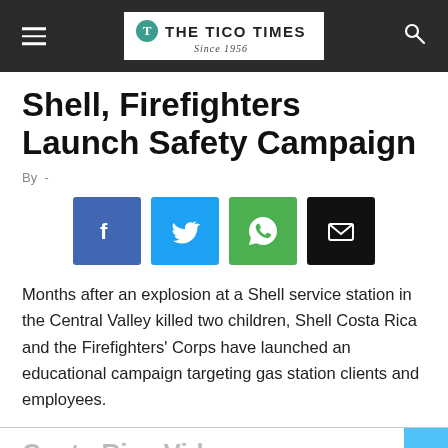THE TICO TIMES Since 1956
Shell, Firefighters Launch Safety Campaign
By -
[Figure (other): Social share buttons: Facebook (blue), Twitter (cyan), WhatsApp (green), Email (black)]
Months after an explosion at a Shell service station in the Central Valley killed two children, Shell Costa Rica and the Firefighters' Corps have launched an educational campaign targeting gas station clients and employees.
Costa Rica Videos